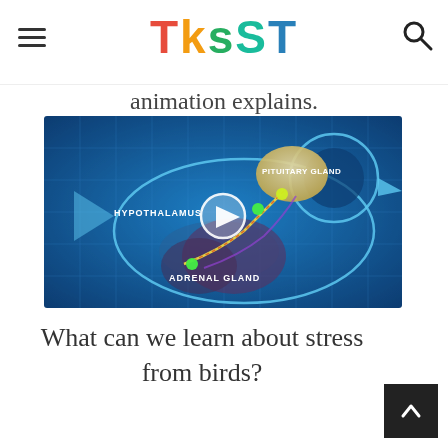TKSST
animation explains.
[Figure (screenshot): Animation screenshot of a bird body cross-section on a blue grid background, showing internal anatomy with labels: HYPOTHALAMUS, PITUITARY GLAND, ADRENAL GLAND. Green dots mark the glands connected by colored nerve pathways. A video play button (white circle with triangle) is centered on the image.]
What can we learn about stress from birds?